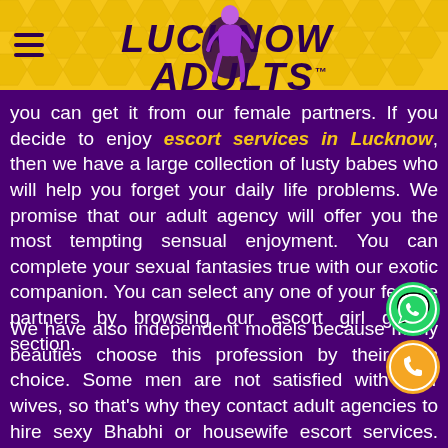[Figure (logo): Lucknow Adults website header with yellow honeycomb background, hamburger menu icon, stylized logo text 'LUCKNOW ADULTS' in dark purple italic font with TM mark, and a figure of a woman in purple]
you can get it from our female partners. If you decide to enjoy escort services in Lucknow, then we have a large collection of lusty babes who will help you forget your daily life problems. We promise that our adult agency will offer you the most tempting sensual enjoyment. You can complete your sexual fantasies true with our exotic companion. You can select any one of your female partners by browsing our escort girl gallery section.
We have also independent models because many beauties choose this profession by their own choice. Some men are not satisfied with their wives, so that's why they contact adult agencies to hire sexy Bhabhi or housewife escort services. Many married men don't want to go outside because of daily life husband-wife problems, but they want to meet with night angels. They are not attracted to sex with